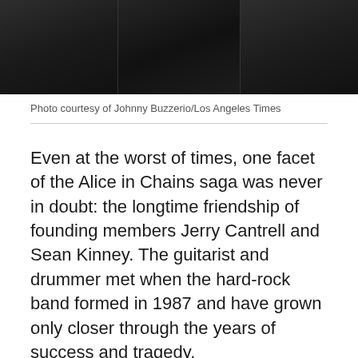[Figure (photo): Dark cropped photo strip showing figures in black leather clothing, partial bodies visible]
Photo courtesy of Johnny Buzzerio/Los Angeles Times
Even at the worst of times, one facet of the Alice in Chains saga was never in doubt: the longtime friendship of founding members Jerry Cantrell and Sean Kinney. The guitarist and drummer met when the hard-rock band formed in 1987 and have grown only closer through the years of success and tragedy.
"He's my absolute best friend," says Cantrell, 47, the band's guitarist and co-vocalist. "I've never been committed to anything for this long through the good